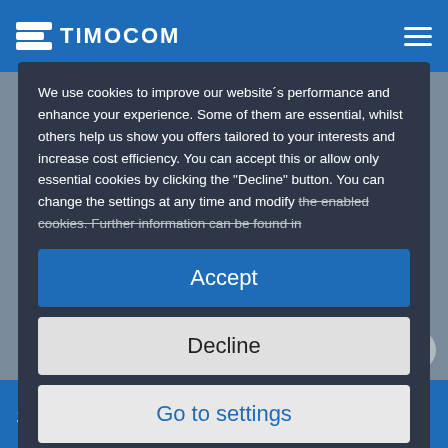TIMOCOM
We use cookies to improve our website’s performance and enhance your experience. Some of them are essential, whilst others help us show you offers tailored to your interests and increase cost efficiency. You can accept this or allow only essential cookies by clicking the “Decline” button. You can change the settings at any time and modify the enabled cookies. Further information can be found in
Accept
Decline
Go to settings
Legal notice | Data protection
storage space – across